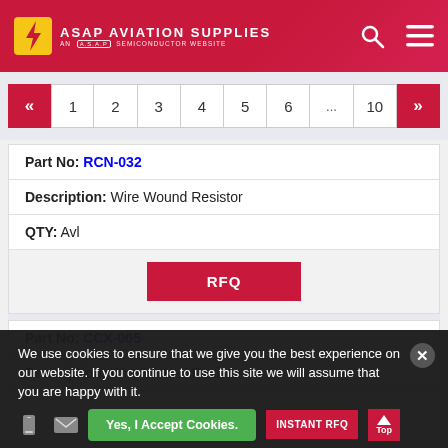ASAP AVIATION SUPPLIES — AN A.S.A.P SEMICONDUCTOR WEBSITE
Pagination: « 1 2 3 4 5 6 ... 10 »
| Field | Value |
| --- | --- |
| Part No | RCN-032 |
| Description | Wire Wound Resistor |
| QTY | Avl |
| Action | RFQ |
| Field | Value |
| --- | --- |
| Part No | CCX-005 |
| Description | Wire Wound Resistor |
We use cookies to ensure that we give you the best experience on our website. If you continue to use this site we will assume that you are happy with it.